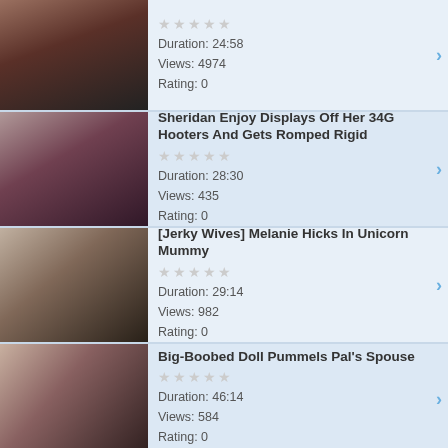[Figure (photo): Thumbnail image of video, partial top row]
Duration: 24:58
Views: 4974
Rating: 0
[Figure (photo): Thumbnail image for Sheridan Enjoy video]
Sheridan Enjoy Displays Off Her 34G Hooters And Gets Romped Rigid
Duration: 28:30
Views: 435
Rating: 0
[Figure (photo): Thumbnail image for Jerky Wives Melanie Hicks video]
[Jerky Wives] Melanie Hicks In Unicorn Mummy
Duration: 29:14
Views: 982
Rating: 0
[Figure (photo): Thumbnail image for Big-Boobed Doll video]
Big-Boobed Doll Pummels Pal's Spouse
Duration: 46:14
Views: 584
Rating: 0